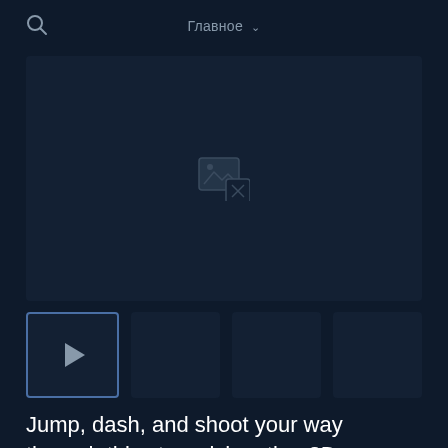Главное
[Figure (screenshot): Main media area with broken image placeholder icon]
[Figure (screenshot): Thumbnail row with 4 thumbnails; first thumbnail is active/selected with play button icon]
Jump, dash, and shoot your way through this story-rich action 2D platformer. Together with your magical wizard companion, play as the